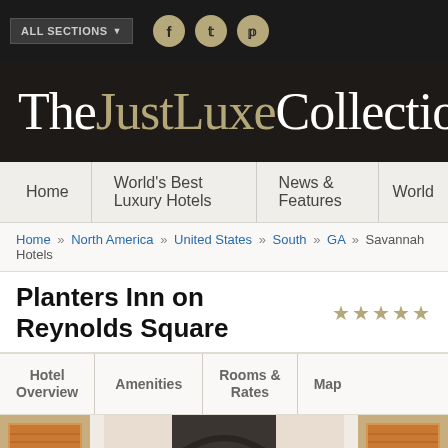ALL SECTIONS
TheJustLuxeCollection
Home | World's Best Luxury Hotels | News & Features | World
Home » North America » United States » South » GA » Savannah Hotels
Planters Inn on Reynolds Square ★★★★★
Hotel Overview | Amenities | Rooms & Rates | Map
[Figure (photo): Exterior entrance of Planters Inn on Reynolds Square showing dark arched doorway with brass horn emblem, flanked by lantern lights and windows with orange/amber blinds]